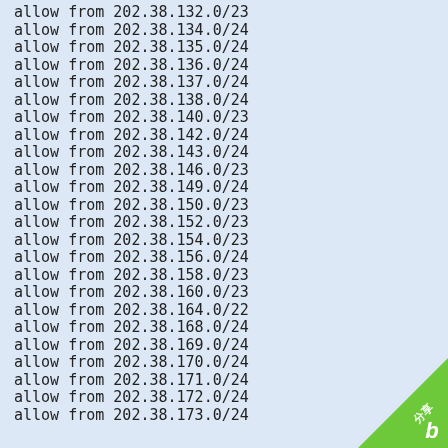allow from 202.38.132.0/23
allow from 202.38.134.0/24
allow from 202.38.135.0/24
allow from 202.38.136.0/24
allow from 202.38.137.0/24
allow from 202.38.138.0/24
allow from 202.38.140.0/23
allow from 202.38.142.0/24
allow from 202.38.143.0/24
allow from 202.38.146.0/23
allow from 202.38.149.0/24
allow from 202.38.150.0/23
allow from 202.38.152.0/23
allow from 202.38.154.0/23
allow from 202.38.156.0/24
allow from 202.38.158.0/23
allow from 202.38.160.0/23
allow from 202.38.164.0/22
allow from 202.38.168.0/24
allow from 202.38.169.0/24
allow from 202.38.170.0/24
allow from 202.38.171.0/24
allow from 202.38.172.0/24
allow from 202.38.173.0/24
[Figure (logo): Green triangular watermark badge in bottom-right corner with Chinese characters and letter b]